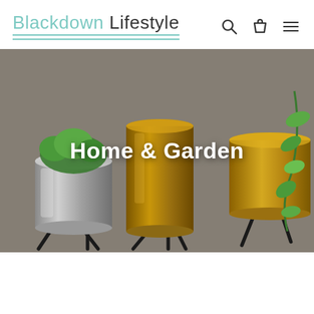Blackdown Lifestyle
[Figure (photo): Hero banner image showing metallic gold and silver plant pots on black tripod stands against a white brick wall background, with green plants, overlaid with the text 'Home & Garden']
Home & Garden